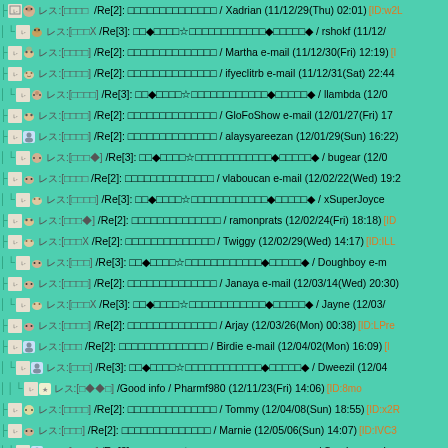|- [icons] レス:[□□□ /Re[2]: □□□□□□□□□□□□□□ / Xadrian (11/12/29(Thu) 02:01) [ID:w2L
| L[icons] レス:[□□□X /Re[3]: □□◆□□□□☆□□□□□□□□□□□□◆□□□□□◆ / rshokf (11/12/
|- [icons] レス:[□□□□] /Re[2]: □□□□□□□□□□□□□□ / Martha e-mail (11/12/30(Fri) 12:19) [I
|- [icons] レス:[□□□□] /Re[2]: □□□□□□□□□□□□□□ / ifyeclitrb e-mail (11/12/31(Sat) 22:44
| L[icons] レス:[□□□□] /Re[3]: □□◆□□□□☆□□□□□□□□□□□□◆□□□□□◆ / llambda (12/0
|- [icons] レス:[□□□□] /Re[2]: □□□□□□□□□□□□□□ / GloFoShow e-mail (12/01/27(Fri) 17
|- [icons] レス:[□□□□] /Re[2]: □□□□□□□□□□□□□□ / alaysyareezan (12/01/29(Sun) 16:22)
| L[icons] レス:[□□□◆] /Re[3]: □□◆□□□□☆□□□□□□□□□□□□◆□□□□□◆ / bugear (12/0
|- [icons] レス:[□□□□ /Re[2]: □□□□□□□□□□□□□□ / vlaboucan e-mail (12/02/22(Wed) 19:2
| L[icons] レス:[□□□□] /Re[3]: □□◆□□□□☆□□□□□□□□□□□□◆□□□□□◆ / xSuperJoyce
|- [icons] レス:[□□□◆] /Re[2]: □□□□□□□□□□□□□□ / ramonprats (12/02/24(Fri) 18:18) [ID
|- [icons] レス:[□□□X /Re[2]: □□□□□□□□□□□□□□ / Twiggy (12/02/29(Wed) 14:17) [ID:ILL
| L[icons] レス:[□□□] /Re[3]: □□◆□□□□☆□□□□□□□□□□□□◆□□□□□◆ / Doughboy e-m
|- [icons] レス:[□□□□] /Re[2]: □□□□□□□□□□□□□□ / Janaya e-mail (12/03/14(Wed) 20:30)
| L[icons] レス:[□□□X /Re[3]: □□◆□□□□☆□□□□□□□□□□□□◆□□□□□◆ / Jayne (12/03/
|- [icons] レス:[□□□□] /Re[2]: □□□□□□□□□□□□□□ / Arjay (12/03/26(Mon) 00:38) [ID:LPre
|- [icons] レス:[□□□ /Re[2]: □□□□□□□□□□□□□□ / Birdie e-mail (12/04/02(Mon) 16:09) [I
| L[icons] レス:[□□□] /Re[3]: □□◆□□□□☆□□□□□□□□□□□□◆□□□□□◆ / Dweezil (12/04
| L[icons] レス:[□◆◆□] /Good info / Pharmf980 (12/11/23(Fri) 14:06) [ID:8mo
|- [icons] レス:[□□□□] /Re[2]: □□□□□□□□□□□□□□ / Tommy (12/04/08(Sun) 18:55) [ID:x2R
|- [icons] レス:[□□□] /Re[2]: □□□□□□□□□□□□□□ / Marnie (12/05/06(Sun) 14:07) [ID:IVC3
| L[icons] レス:[□□□□] /Re[3]: □□◆□□□□☆□□□□□□□□□□□□◆□□□□□◆ / Sparky e-mai
|-[icons] ...